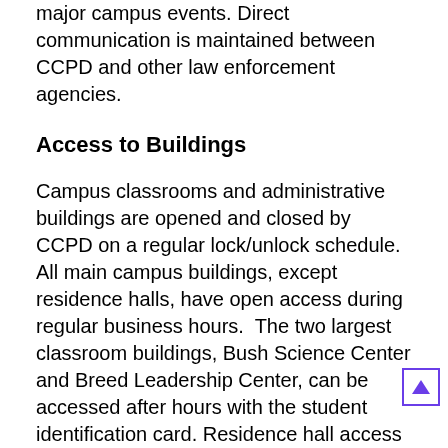major campus events. Direct communication is maintained between CCPD and other law enforcement agencies.
Access to Buildings
Campus classrooms and administrative buildings are opened and closed by CCPD on a regular lock/unlock schedule.  All main campus buildings, except residence halls, have open access during regular business hours.  The two largest classroom buildings, Bush Science Center and Breed Leadership Center, can be accessed after hours with the student identification card. Residence hall access is by student identification card and controlled by Linear Security at all times.  Access to individual rooms within the residence hall is by keys, which are issued to residents at check-in by the Office of Residence Life and Housing.
Off-campus guests may visit the residence halls during visitation hours, and they must be in the presence of the resident they are visiting at all times.  Student desk